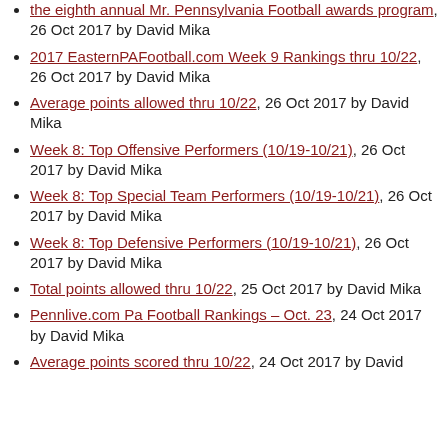the eighth annual Mr. Pennsylvania Football awards program, 26 Oct 2017 by David Mika
2017 EasternPAFootball.com Week 9 Rankings thru 10/22, 26 Oct 2017 by David Mika
Average points allowed thru 10/22, 26 Oct 2017 by David Mika
Week 8: Top Offensive Performers (10/19-10/21), 26 Oct 2017 by David Mika
Week 8: Top Special Team Performers (10/19-10/21), 26 Oct 2017 by David Mika
Week 8: Top Defensive Performers (10/19-10/21), 26 Oct 2017 by David Mika
Total points allowed thru 10/22, 25 Oct 2017 by David Mika
Pennlive.com Pa Football Rankings – Oct. 23, 24 Oct 2017 by David Mika
Average points scored thru 10/22, 24 Oct 2017 by David